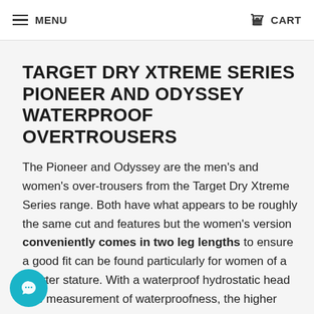MENU   CART
TARGET DRY XTREME SERIES PIONEER AND ODYSSEY WATERPROOF OVERTROUSERS
The Pioneer and Odyssey are the men's and women's over-trousers from the Target Dry Xtreme Series range. Both have what appears to be roughly the same cut and features but the women's version conveniently comes in two leg lengths to ensure a good fit can be found particularly for women of a shorter stature. With a waterproof hydrostatic head (the measurement of waterproofness, the higher